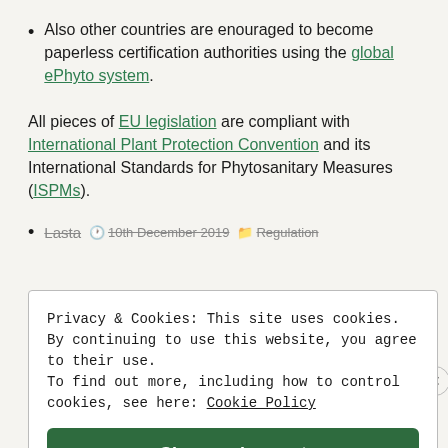Also other countries are encouraged to become paperless certification authorities using the global ePhyto system.
All pieces of EU legislation are compliant with International Plant Protection Convention and its International Standards for Phytosanitary Measures (ISPMs).
Lasta  10th December 2019  Regulation
Privacy & Cookies: This site uses cookies. By continuing to use this website, you agree to their use.
To find out more, including how to control cookies, see here: Cookie Policy
Close and accept